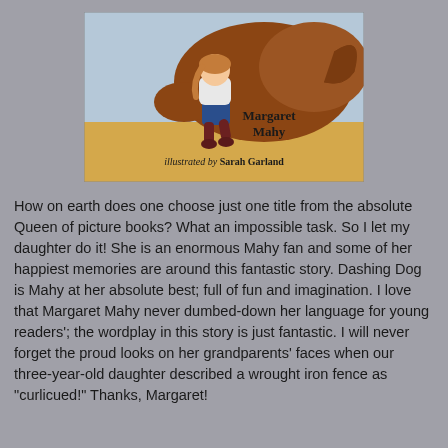[Figure (illustration): Book cover illustration showing a girl running with a large brown dog, with text 'Margaret Mahy' and 'illustrated by Sarah Garland']
How on earth does one choose just one title from the absolute Queen of picture books? What an impossible task. So I let my daughter do it! She is an enormous Mahy fan and some of her happiest memories are around this fantastic story. Dashing Dog is Mahy at her absolute best; full of fun and imagination. I love that Margaret Mahy never dumbed-down her language for young readers'; the wordplay in this story is just fantastic. I will never forget the proud looks on her grandparents' faces when our three-year-old daughter described a wrought iron fence as "curlicued!" Thanks, Margaret!